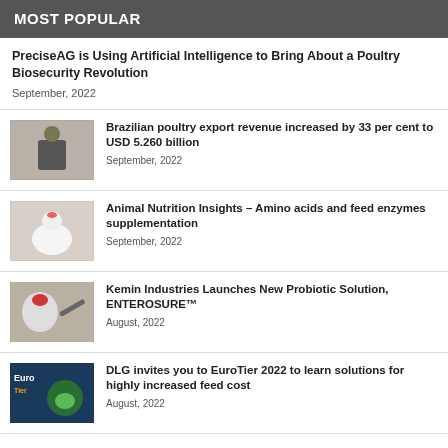MOST POPULAR
PreciseAG is Using Artificial Intelligence to Bring About a Poultry Biosecurity Revolution
September, 2022
[Figure (photo): Man in suit at conference podium with red background]
Brazilian poultry export revenue increased by 33 per cent to USD 5.260 billion
September, 2022
[Figure (photo): White chicken and cow in background, animal nutrition]
Animal Nutrition Insights – Amino acids and feed enzymes supplementation
September, 2022
[Figure (photo): Close-up of chicken with red comb being vaccinated]
Kemin Industries Launches New Probiotic Solution, ENTEROSURE™
August, 2022
[Figure (photo): EuroTier 2022 logo with green animal graphic]
DLG invites you to EuroTier 2022 to learn solutions for highly increased feed cost
August, 2022